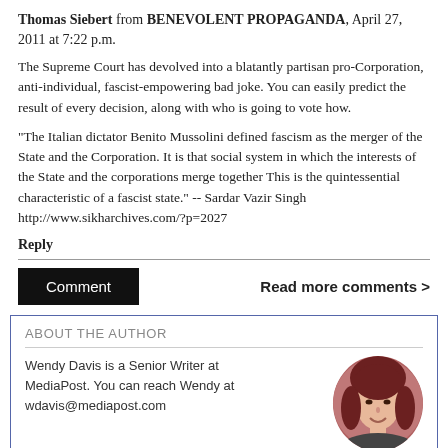Thomas Siebert from BENEVOLENT PROPAGANDA, April 27, 2011 at 7:22 p.m.
The Supreme Court has devolved into a blatantly partisan pro-Corporation, anti-individual, fascist-empowering bad joke. You can easily predict the result of every decision, along with who is going to vote how.
"The Italian dictator Benito Mussolini defined fascism as the merger of the State and the Corporation. It is that social system in which the interests of the State and the corporations merge together This is the quintessential characteristic of a fascist state." -- Sardar Vazir Singh http://www.sikharchives.com/?p=2027
Reply
Comment
Read more comments >
ABOUT THE AUTHOR
Wendy Davis is a Senior Writer at MediaPost. You can reach Wendy at wdavis@mediapost.com
[Figure (photo): Circular photo of female author with dark reddish-brown hair, smiling]